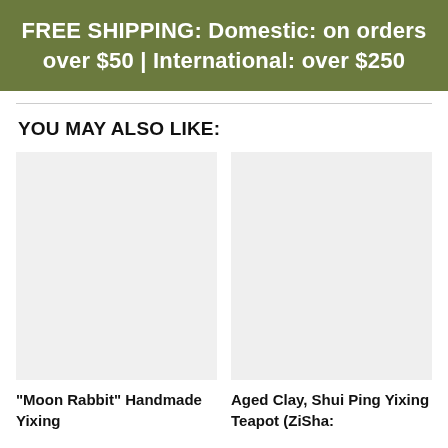FREE SHIPPING: Domestic: on orders over $50 | International: over $250
YOU MAY ALSO LIKE:
[Figure (photo): Product image placeholder (light gray rectangle) for Moon Rabbit Handmade Yixing item]
"Moon Rabbit" Handmade Yixing
[Figure (photo): Product image placeholder (light gray rectangle) for Aged Clay, Shui Ping Yixing Teapot (ZiSha: item]
Aged Clay, Shui Ping Yixing Teapot (ZiSha: